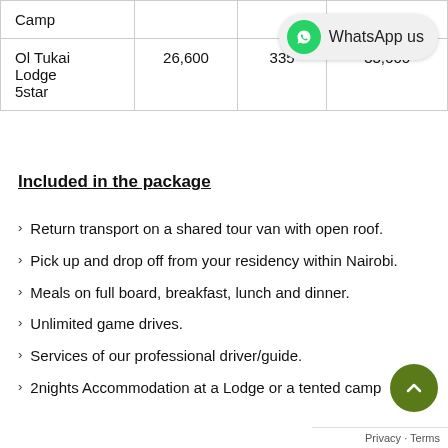|  |  |  |  |
| --- | --- | --- | --- |
| Camp |  |  |  |
| Ol Tukai Lodge 5star | 26,600 | 335 | 33,600 |
Included in the package
Return transport on a shared tour van with open roof.
Pick up and drop off from your residency within Nairobi.
Meals on full board, breakfast, lunch and dinner.
Unlimited game drives.
Services of our professional driver/guide.
2nights Accommodation at a Lodge or a tented camp